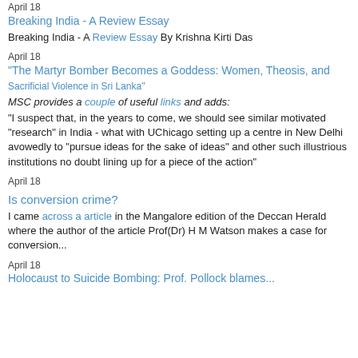April 18
Breaking India - A Review Essay
Breaking India - A Review Essay By Krishna Kirti Das
April 18
"The Martyr Bomber Becomes a Goddess: Women, Theosis, and Sacrificial Violence in Sri Lanka"
MSC provides a couple of useful links and adds:
“I suspect that, in the years to come, we should see similar motivated "research" in India - what with UChicago setting up a centre in New Delhi avowedly to “pursue ideas for the sake of ideas” and other such illustrious institutions no doubt lining up for a piece of the action”
April 18
Is conversion crime?
I came across a article in the Mangalore edition of the Deccan Herald where the author of the article Prof(Dr) H M Watson makes a case for conversion...
April 18
Holocaust to Suicide Bombing: Prof. Pollock blames...